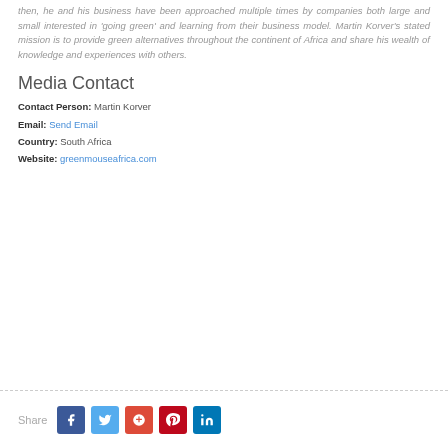then, he and his business have been approached multiple times by companies both large and small interested in 'going green' and learning from their business model. Martin Korver's stated mission is to provide green alternatives throughout the continent of Africa and share his wealth of knowledge and experiences with others.
Media Contact
Contact Person: Martin Korver
Email: Send Email
Country: South Africa
Website: greenmouseafrica.com
Share [Facebook] [Twitter] [Google+] [Pinterest] [LinkedIn]